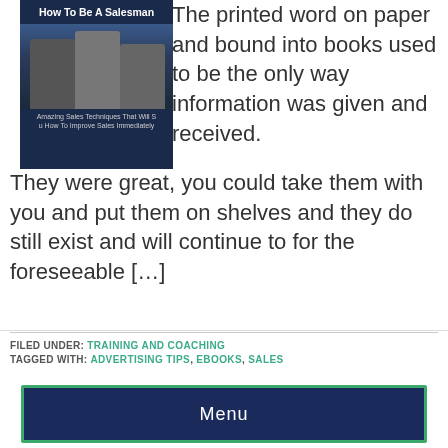[Figure (illustration): Book cover for 'How To Be A Salesman' with text 'Amazing Sales Techniques That Will Show You How To Improve Sales Immediately' and image of businesspeople]
The printed word on paper and bound into books used to be the only way information was given and received. They were great, you could take them with you and put them on shelves and they do still exist and will continue to for the foreseeable […]
FILED UNDER: TRAINING AND COACHING
TAGGED WITH: ADVERTISING TIPS, EBOOKS, SALES
Menu